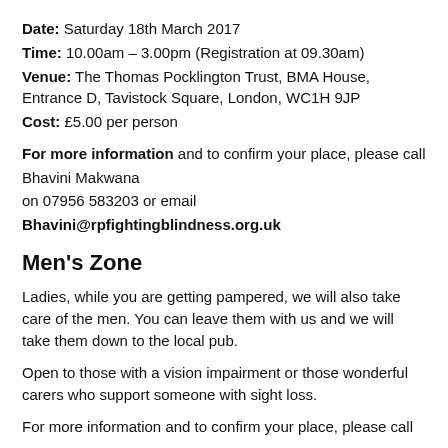Date: Saturday 18th March 2017
Time: 10.00am – 3.00pm (Registration at 09.30am)
Venue: The Thomas Pocklington Trust, BMA House, Entrance D, Tavistock Square, London, WC1H 9JP
Cost: £5.00 per person
For more information and to confirm your place, please call Bhavini Makwana on 07956 583203 or email Bhavini@rpfightingblindness.org.uk
Men's Zone
Ladies, while you are getting pampered, we will also take care of the men. You can leave them with us and we will take them down to the local pub.
Open to those with a vision impairment or those wonderful carers who support someone with sight loss.
For more information and to confirm your place, please call